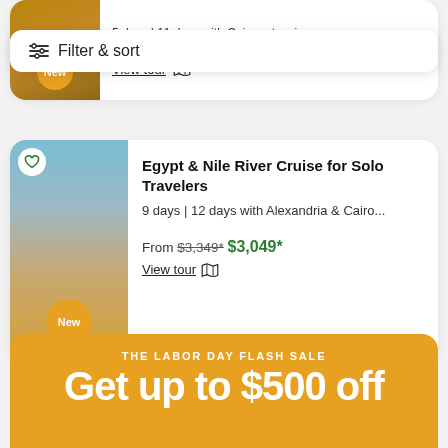5 days | 11 days with Cairo extension
Filter & sort
From $2,665  $2,269*
View tour
Egypt & Nile River Cruise for Solo Travelers
9 days | 12 days with Alexandria & Cairo...
From $3,349* $3,049*
View tour
THE LABOR DAY FLASH SALE
Get up to $500 off